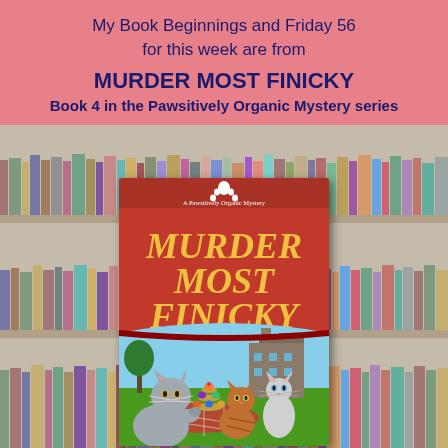My Book Beginnings and Friday 56 for this week are from
MURDER MOST FINICKY
Book 4 in the Pawsitively Organic Mystery series
[Figure (illustration): Book cover for 'Murder Most Finicky' — A Pawsitively Organic Mystery. Red top half with yellow stylized text reading 'MURDER MOST FINICKY'. Bottom half shows three cats on a green lawn in front of a mansion, with a tiered cupcake stand and picnic items. Small white paw print logo at top.]